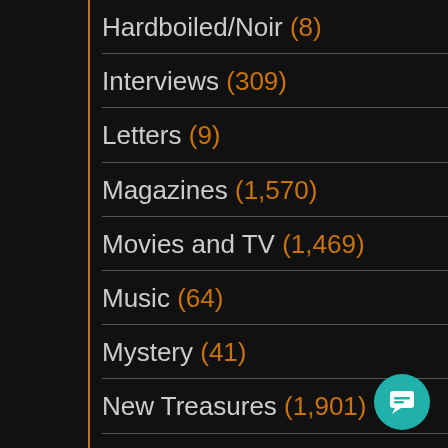Hardboiled/Noir (8)
Interviews (309)
Letters (9)
Magazines (1,570)
Movies and TV (1,469)
Music (64)
Mystery (41)
New Treasures (1,901)
News (870)
Obituary (105)
Paranormal Romance (45)